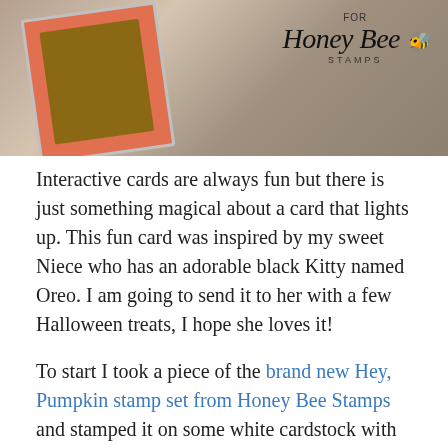[Figure (photo): Photo of craft cards on a wooden background with a Honey Bee Stamps logo in the top right corner. Shows a decorative card with coral/orange patterned border and dark center, along with crafting materials.]
Interactive cards are always fun but there is just something magical about a card that lights up. This fun card was inspired by my sweet Niece who has an adorable black Kitty named Oreo. I am going to send it to her with a few Halloween treats, I hope she loves it!
To start I took a piece of the brand new Hey, Pumpkin stamp set from Honey Bee Stamps and stamped it on some white cardstock with some Copic Safe ink. Then, I blended some distress oxide ink over the stamped image with Antique Linen, Fossilized Amber, Spiced Marmalade, Fired Brick, Seedless preserves, and Faded Jeans to get a setting sun/ twilight kind of look. On this same blended